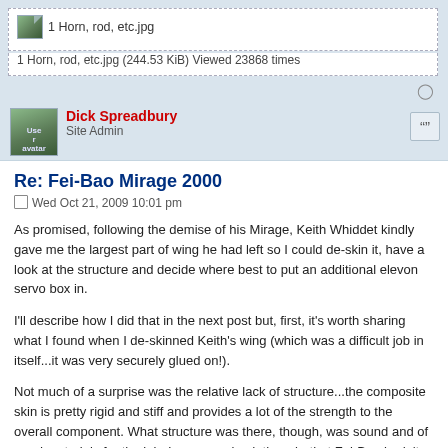[Figure (screenshot): Attachment thumbnail icon for '1 Horn, rod, etc.jpg']
1 Horn, rod, etc.jpg (244.53 KiB) Viewed 23868 times
Dick Spreadbury
Site Admin
Re: Fei-Bao Mirage 2000
Wed Oct 21, 2009 10:01 pm
As promised, following the demise of his Mirage, Keith Whiddet kindly gave me the largest part of wing he had left so I could de-skin it, have a look at the structure and decide where best to put an additional elevon servo box in.
I'll describe how I did that in the next post but, first, it's worth sharing what I found when I de-skinned Keith's wing (which was a difficult job in itself...it was very securely glued on!).
Not much of a surprise was the relative lack of structure...the composite skin is pretty rigid and stiff and provides a lot of the strength to the overall component. What structure was there, though, was sound and of good materials for the job. I was surprised, though, that Fei-Bao hadn't extended the rear spar right to the root rib and tied it in there (that's not the rear carbon rod-spar, by the way, I'm talking about the rearward